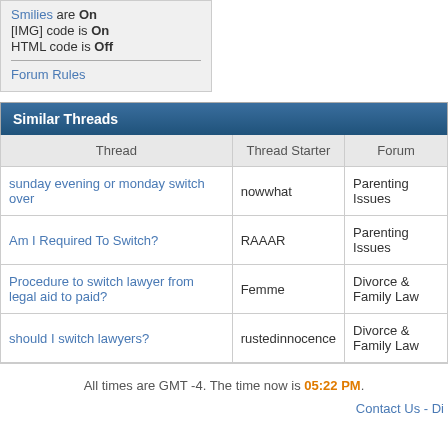Smilies are On
[IMG] code is On
HTML code is Off
Forum Rules
Similar Threads
| Thread | Thread Starter | Forum |
| --- | --- | --- |
| sunday evening or monday switch over | nowwhat | Parenting Issues |
| Am I Required To Switch? | RAAAR | Parenting Issues |
| Procedure to switch lawyer from legal aid to paid? | Femme | Divorce & Family Law |
| should I switch lawyers? | rustedinnocence | Divorce & Family Law |
All times are GMT -4. The time now is 05:22 PM.
Contact Us - Di